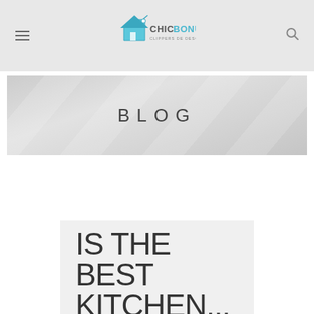ChicBonus - CLIPPERS DE DESCUENTO
[Figure (logo): ChicBonus logo with house icon and tag, text reads CHIC BONUS, subtitle CLIPPERS DE DESCUENTO]
BLOG
IS THE BEST KITCHEN...